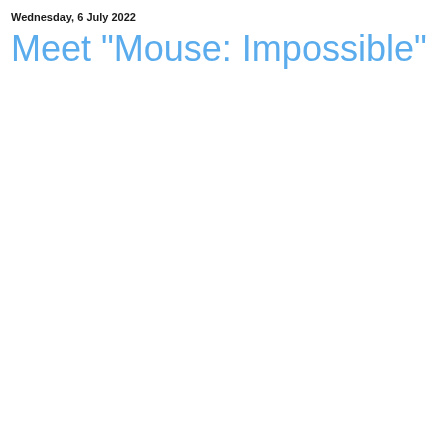Wednesday, 6 July 2022
Meet "Mouse: Impossible"